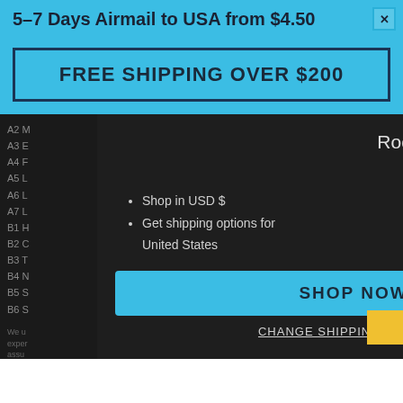5-7 Days Airmail to USA from $4.50
FREE SHIPPING OVER $200
Rook Records ships to United States
Shop in USD $
Get shipping options for United States
SHOP NOW
CHANGE SHIPPING COUNTRY